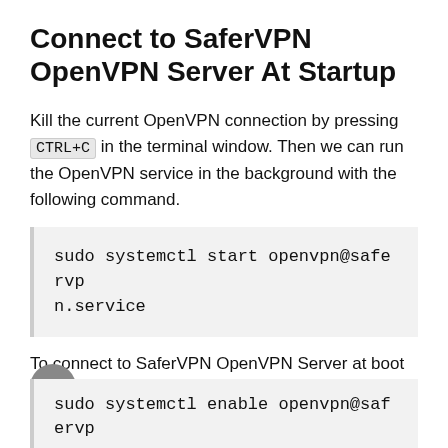Connect to SaferVPN OpenVPN Server At Startup
Kill the current OpenVPN connection by pressing CTRL+C in the terminal window. Then we can run the OpenVPN service in the background with the following command.
sudo systemctl start openvpn@safervpn.service
To connect to SaferVPN OpenVPN Server at boot time, we just need to enable this service.
sudo systemctl enable openvpn@safervp